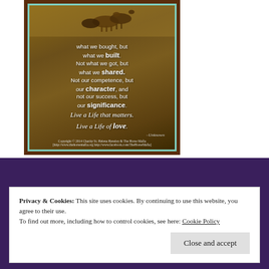[Figure (illustration): Motivational quote image with horses in background on brown prairie landscape. Text reads: 'what we bought, but what we built. Not what we got, but what we shared. Not our competence, but our character, and not our success, but our significance. Live a Life that matters. Live a Life of love. -Unknown'. Copyright 2014 Charity St. Helena Hensley & The Horse Mafia.]
Privacy & Cookies: This site uses cookies. By continuing to use this website, you agree to their use. To find out more, including how to control cookies, see here: Cookie Policy
Close and accept